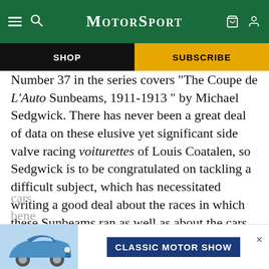Motor Sport
SHOP
SUBSCRIBE
Number 37 in the series covers "The Coupe de L'Auto Sunbeams, 1911-1913" by Michael Sedgwick. There has never been a great deal of data on these elusive yet significant side valve racing voiturettes of Louis Coatalen, so Sedgwick is to be congratulated on tackling a difficult subject, which has necessitated writing a good deal about the races in which these Sunbeams ran as well as about the cars themselves. He does not fall into the common error of stating that the engines of the ordinary 12/16 Sunbeam and the racing Coupe de L'Auto
[Figure (screenshot): Advertisement banner showing Classic Motor Show with a blue Porsche 911 car image on the left and 'CLASSIC MOTOR SHOW' text in white on dark blue background on the right]